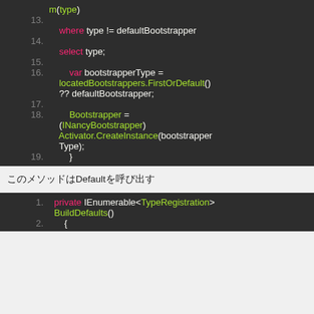[Figure (screenshot): Code editor screenshot showing C# code lines 13-19 with syntax highlighting on dark background]
このメソッドはDefaultを呼び出す
[Figure (screenshot): Code editor screenshot showing C# code lines 1-2 with syntax highlighting on dark background, private IEnumerable<TypeRegistration> BuildDefaults() {]